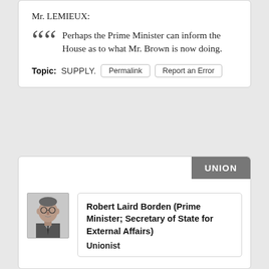Mr. LEMIEUX:
Perhaps the Prime Minister can inform the House as to what Mr. Brown is now doing.
Topic: SUPPLY. [Permalink] [Report an Error]
UNION
[Figure (photo): Black and white portrait photo of Robert Laird Borden]
Robert Laird Borden (Prime Minister; Secretary of State for External Affairs)
Unionist